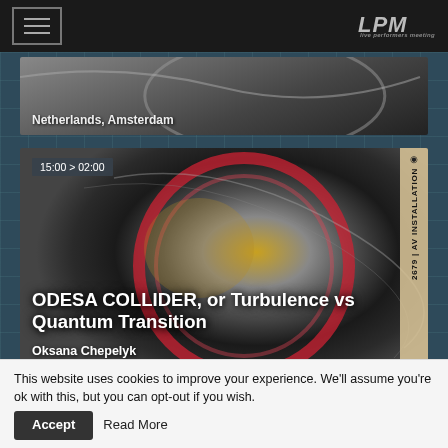LPM header with hamburger menu and logo
[Figure (photo): Partial image card showing 'Netherlands, Amsterdam' label at bottom, black and white abstract image]
[Figure (photo): Main event card: ODESA COLLIDER, or Turbulence vs Quantum Transition - metallic reflective sphere with red ring, time 15:00 > 02:00, ID 2679, AV INSTALLATION, artist Oksana Chepelyk, Ukraine, Kyiv]
[Figure (photo): Partial bottom card, dark red/black image, time 15:00 > 02:00, ID 1621]
This website uses cookies to improve your experience. We'll assume you're ok with this, but you can opt-out if you wish.  Accept  Read More